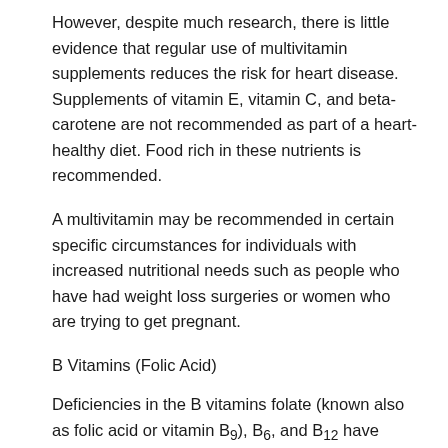However, despite much research, there is little evidence that regular use of multivitamin supplements reduces the risk for heart disease. Supplements of vitamin E, vitamin C, and beta-carotene are not recommended as part of a heart-healthy diet. Food rich in these nutrients is recommended.
A multivitamin may be recommended in certain specific circumstances for individuals with increased nutritional needs such as people who have had weight loss surgeries or women who are trying to get pregnant.
B Vitamins (Folic Acid)
Deficiencies in the B vitamins folate (known also as folic acid or vitamin B9), B6, and B12 have been associated with a higher risk for heart disease in some studies. Such deficiencies produce higher blood levels of homocysteine, an amino acid that has been associated with a higher risk